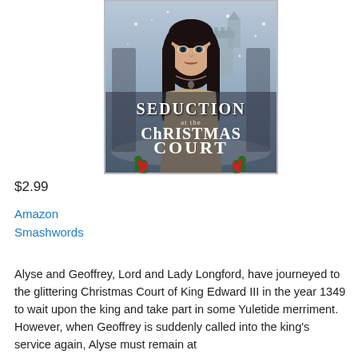[Figure (illustration): Book cover for 'Seduction at the Christmas Court' showing a dark-haired young woman against a snowy medieval castle background, with holly decorations and stylized medieval title text.]
$2.99
Amazon
Smashwords
Alyse and Geoffrey, Lord and Lady Longford, have journeyed to the glittering Christmas Court of King Edward III in the year 1349 to wait upon the king and take part in some Yuletide merriment. However, when Geoffrey is suddenly called into the king's service again, Alyse must remain at